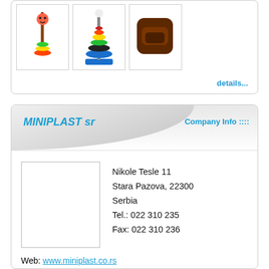[Figure (photo): Three toy product images in bordered boxes: a colorful toy fork/rattle, a stacking ring tower toy, and a brown plastic toy]
details...
MINIPLAST sr
Company Info ::::
[Figure (logo): Company logo placeholder (white rectangle with border)]
Nikole Tesle 11
Stara Pazova, 22300
Serbia
Tel.: 022 310 235
Fax: 022 310 236
Web: www.miniplast.co.rs
E-mail: miniplast@ptt.rs
Other Categories:
archival product
blown packaging